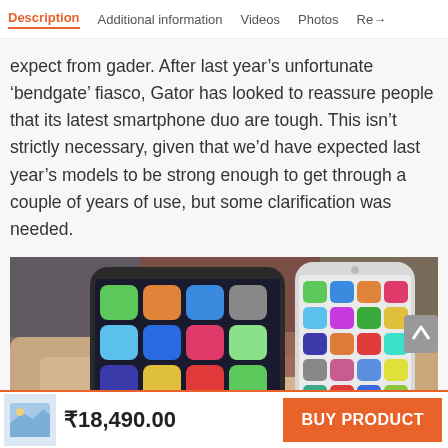Description | Additional information | Videos | Photos | Re...
expect from gader. After last year’s unfortunate ‘bendgate’ fiasco, Gator has looked to reassure people that its latest smartphone duo are tough. This isn’t strictly necessary, given that we’d have expected last year’s models to be strong enough to get through a couple of years of use, but some clarification was needed.
[Figure (photo): Two smartphones (one dark, one light) being held in hands, showing colorful app icon home screens.]
₹18,490.00  BUY PRODUCT